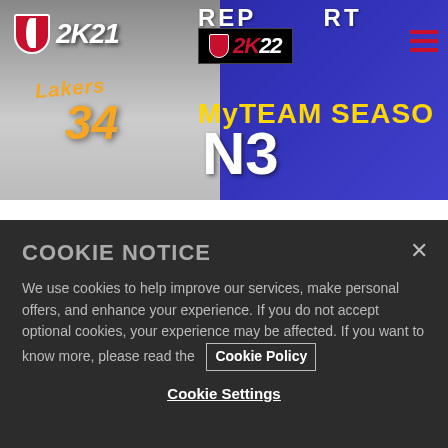[Figure (screenshot): NBA 2K21 and NBA 2K22 MyTEAM Season 3 banner. Left side shows the NBA 2K21 logo and a Lakers player wearing jersey number 34. Right side shows NBA 2K22 logo badge and MyTeam Season 3 text in yellow and white on blue background.]
The Season of Giving has come to MyTEAM for Season 3! It is a festive time of year and the next six weeks in MyTEAM will be focusing on the many ways you can earn and receive new Reward Cards, including the first Galaxy Opal players! November has already been an
COOKIE NOTICE
We use cookies to help improve our services, make personal offers, and enhance your experience. If you do not accept optional cookies, your experience may be affected. If you want to know more, please read the Cookie Policy
Cookie Settings